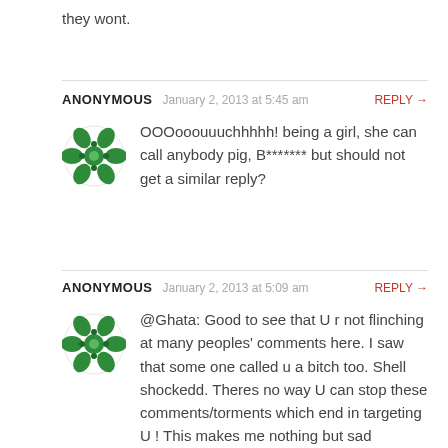they wont.
ANONYMOUS   January 2, 2013 at 5:45 am   REPLY →
OOOooouuuchhhhh! being a girl, she can call anybody pig, B******* but should not get a similar reply?
ANONYMOUS   January 2, 2013 at 5:09 am   REPLY →
@Ghata: Good to see that U r not flinching at many peoples' comments here. I saw that some one called u a bitch too. Shell shockedd. Theres no way U can stop these comments/torments which end in targeting U ! This makes me nothing but sad